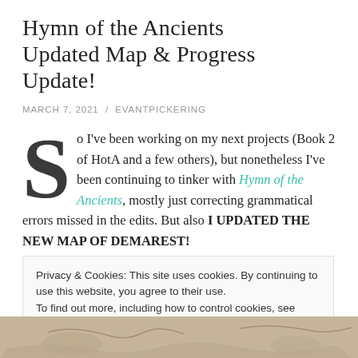Hymn of the Ancients Updated Map & Progress Update!
MARCH 7, 2021 / EVANTPICKERING
So I've been working on my next projects (Book 2 of HotA and a few others), but nonetheless I've been continuing to tinker with Hymn of the Ancients, mostly just correcting grammatical errors missed in the edits. But also I UPDATED THE NEW MAP OF DEMAREST!
Privacy & Cookies: This site uses cookies. By continuing to use this website, you agree to their use.
To find out more, including how to control cookies, see here: Cookie Policy
Close and accept